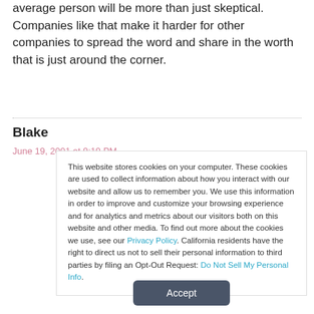average person will be more than just skeptical. Companies like that make it harder for other companies to spread the word and share in the worth that is just around the corner.
Blake
June 19, 2001 at 9:19 PM
This website stores cookies on your computer. These cookies are used to collect information about how you interact with our website and allow us to remember you. We use this information in order to improve and customize your browsing experience and for analytics and metrics about our visitors both on this website and other media. To find out more about the cookies we use, see our Privacy Policy. California residents have the right to direct us not to sell their personal information to third parties by filing an Opt-Out Request: Do Not Sell My Personal Info.